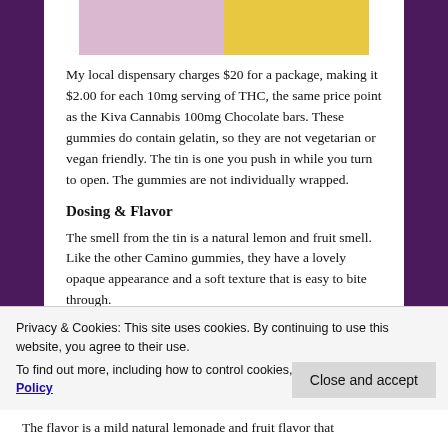[Figure (photo): Product image showing cannabis gummies packaging with pink/purple and yellow colors]
My local dispensary charges $20 for a package, making it $2.00 for each 10mg serving of THC, the same price point as the Kiva Cannabis 100mg Chocolate bars. These gummies do contain gelatin, so they are not vegetarian or vegan friendly. The tin is one you push in while you turn to open. The gummies are not individually wrapped.
Dosing & Flavor
The smell from the tin is a natural lemon and fruit smell. Like the other Camino gummies, they have a lovely opaque appearance and a soft texture that is easy to bite through.
Privacy & Cookies: This site uses cookies. By continuing to use this website, you agree to their use.
To find out more, including how to control cookies, see here: Cookie Policy
The flavor is a mild natural lemonade and fruit flavor that